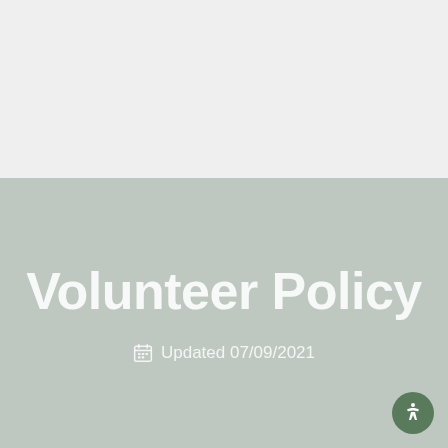Volunteer Policy
Updated 07/09/2021